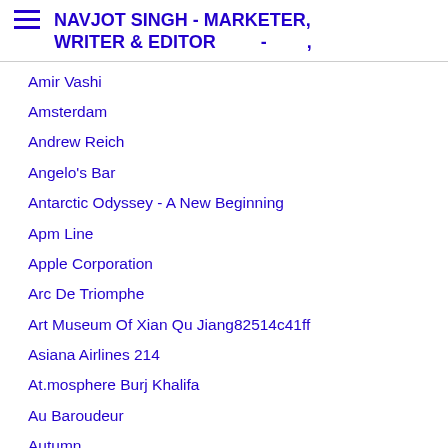NAVJOT SINGH - MARKETER, WRITER & EDITOR - ,
Amir Vashi
Amsterdam
Andrew Reich
Angelo's Bar
Antarctic Odyssey - A New Beginning
Apm Line
Apple Corporation
Arc De Triomphe
Art Museum Of Xian Qu Jiang82514c41ff
Asiana Airlines 214
At.mosphere Burj Khalifa
Au Baroudeur
Autumn
Aviation
Azure
Babar Ahmad
Baby Milk
Baddi...